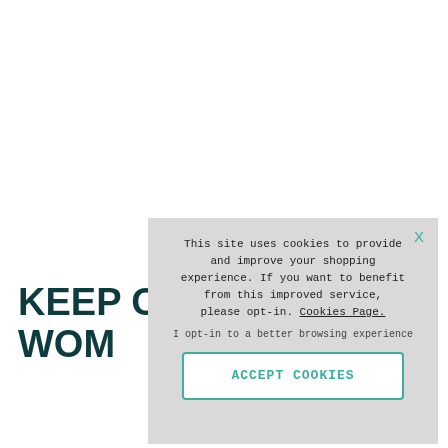KEEP CA… WOM…
This site uses cookies to provide and improve your shopping experience. If you want to benefit from this improved service, please opt-in. Cookies Page.
I opt-in to a better browsing experience
ACCEPT COOKIES